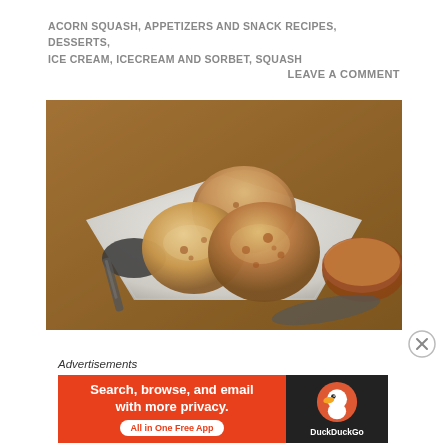ACORN SQUASH, APPETIZERS AND SNACK RECIPES, DESSERTS, ICE CREAM, ICECREAM AND SORBET, SQUASH
LEAVE A COMMENT
[Figure (photo): Three scoops of spiced ice cream served in a white square dish, with a spoon to the left and what appears to be a baked item on the right side.]
Advertisements
[Figure (infographic): DuckDuckGo advertisement banner: orange left section with white bold text 'Search, browse, and email with more privacy.' and a white pill button 'All in One Free App'. Dark right section with DuckDuckGo duck logo and 'DuckDuckGo' text in white.]